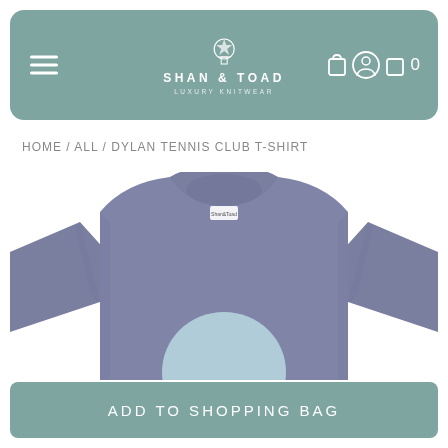SHAN & TOAD LUXURY KNITWEAR
HOME / ALL / DYLAN TENNIS CLUB T-SHIRT
[Figure (photo): A folded/laid-flat slate-blue/mauve t-shirt with a light blue circular graphic on the front, shown from the upper half. The shirt has a crew neck and short sleeves. A small label is visible at the neckline.]
ADD TO SHOPPING BAG